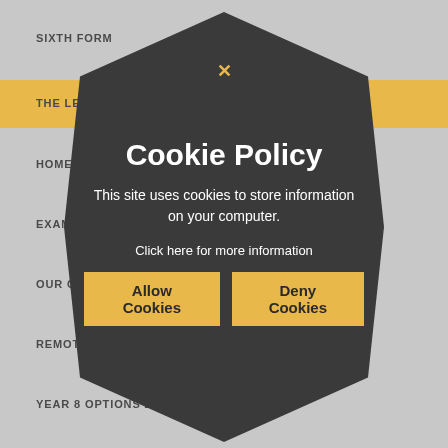SIXTH FORM
THE LEARNING RESOURCE CENTRE (LIBRARY)
HOMEWORK
EXAMS IN...
OUR CU...
REMOTE LEARNING
YEAR 8 OPTIONS 2021
[Figure (screenshot): Cookie Policy modal overlay in a dark hexagon shape on a grey navigation page. Contains title 'Cookie Policy', body text 'This site uses cookies to store information on your computer.', a link 'Click here for more information', and two yellow buttons 'Allow Cookies' and 'Deny Cookies'. A yellow X close button appears at the top of the hexagon.]